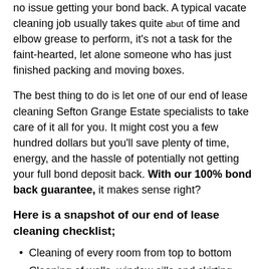no issue getting your bond back. A typical vacate cleaning job usually takes quite abut of time and elbow grease to perform, it's not a task for the faint-hearted, let alone someone who has just finished packing and moving boxes.
The best thing to do is let one of our end of lease cleaning Sefton Grange Estate specialists to take care of it all for you. It might cost you a few hundred dollars but you'll save plenty of time, energy, and the hassle of potentially not getting your full bond deposit back. With our 100% bond back guarantee, it makes sense right?
Here is a snapshot of our end of lease cleaning checklist;
Cleaning of every room from top to bottom
Cleaning of walls, window sills and skirting boards
Wiping down of all cupboards and drawers inside and out
Cleaning, scrubbing of showers, bathrooms and toilets
Cleaning and scrubbing of laundry, benchtops and